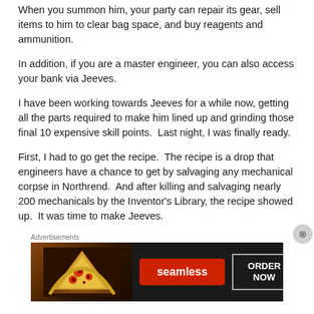When you summon him, your party can repair its gear, sell items to him to clear bag space, and buy reagents and ammunition.
In addition, if you are a master engineer, you can also access your bank via Jeeves.
I have been working towards Jeeves for a while now, getting all the parts required to make him lined up and grinding those final 10 expensive skill points.  Last night, I was finally ready.
First, I had to go get the recipe.  The recipe is a drop that engineers have a chance to get by salvaging any mechanical corpse in Northrend.  And after killing and salvaging nearly 200 mechanicals by the Inventor's Library, the recipe showed up.  It was time to make Jeeves.
[Figure (infographic): Seamless food delivery advertisement banner showing pizza slices on dark background with red Seamless logo button and ORDER NOW button in outlined box]